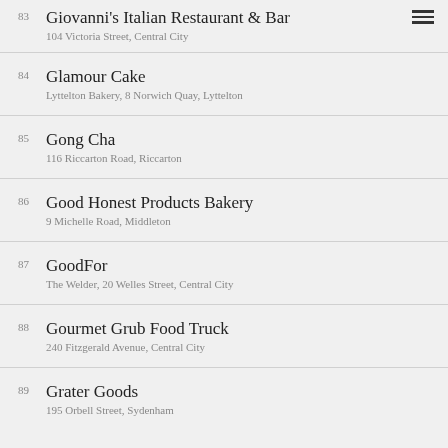83 Giovanni's Italian Restaurant & Bar
104 Victoria Street, Central City
84 Glamour Cake
Lyttelton Bakery, 8 Norwich Quay, Lyttelton
85 Gong Cha
116 Riccarton Road, Riccarton
86 Good Honest Products Bakery
9 Michelle Road, Middleton
87 GoodFor
The Welder, 20 Welles Street, Central City
88 Gourmet Grub Food Truck
240 Fitzgerald Avenue, Central City
89 Grater Goods
195 Orbell Street, Sydenham